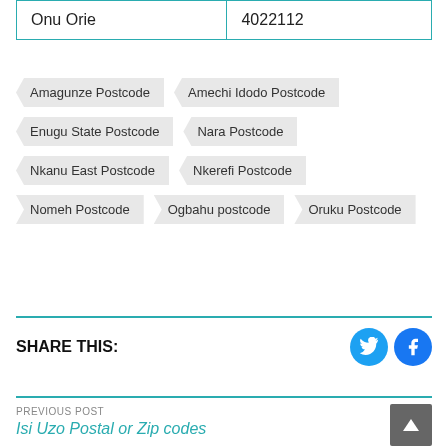| Onu Orie | 4022112 |
Amagunze Postcode
Amechi Idodo Postcode
Enugu State Postcode
Nara Postcode
Nkanu East Postcode
Nkerefi Postcode
Nomeh Postcode
Ogbahu postcode
Oruku Postcode
SHARE THIS:
PREVIOUS POST
Isi Uzo Postal or Zip codes